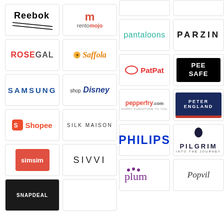[Figure (logo): Reebok logo]
[Figure (logo): RentoMojo logo]
[Figure (logo): ROSEGAL logo]
[Figure (logo): Saffola logo]
[Figure (logo): Samsung logo]
[Figure (logo): Shop Disney logo]
[Figure (logo): Shopee logo]
[Figure (logo): Silk Maison logo]
[Figure (logo): simsim logo]
[Figure (logo): SIVVI logo]
[Figure (logo): pantaloons logo]
[Figure (logo): PARZIN logo]
[Figure (logo): PatPat logo]
[Figure (logo): PEE SAFE logo]
[Figure (logo): pepperfry.com logo]
[Figure (logo): Peter England logo]
[Figure (logo): PHILIPS logo]
[Figure (logo): Pilgrim logo]
[Figure (logo): plum logo]
[Figure (logo): Popvil logo]